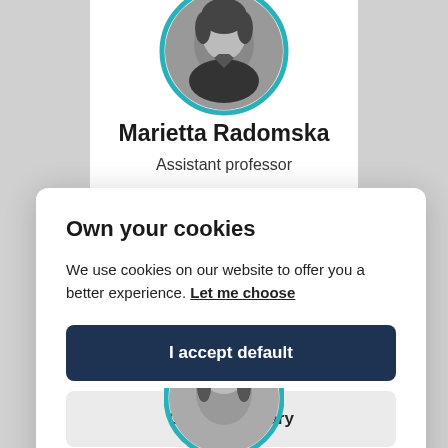[Figure (photo): Profile photo of Marietta Radomska with teal circular border, partially visible at top]
Marietta Radomska
Assistant professor
Department of Thematic Studies
Own your cookies
We use cookies on our website to offer you a better experience. Let me choose
I accept default
Only necessary
[Figure (photo): Partial profile photo with teal circular border at bottom of page]